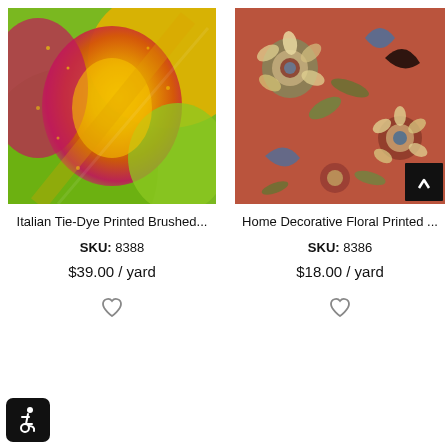[Figure (photo): Italian Tie-Dye Printed Brushed fabric in green, yellow, and pink tie-dye pattern]
[Figure (photo): Home Decorative Floral Printed fabric with rust/terracotta background and blue and cream floral pattern]
Italian Tie-Dye Printed Brushed...
SKU: 8388
$39.00 / yard
Home Decorative Floral Printed ...
SKU: 8386
$18.00 / yard